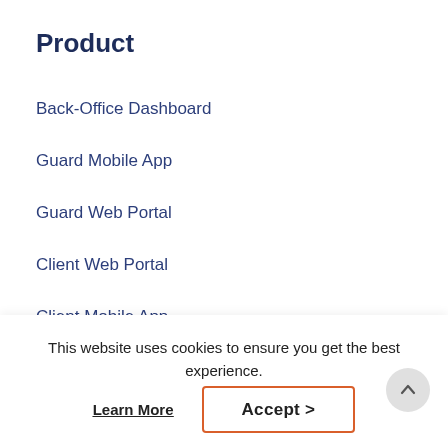Product
Back-Office Dashboard
Guard Mobile App
Guard Web Portal
Client Web Portal
Client Mobile App
Add On Modules
Industries
Security Firms
This website uses cookies to ensure you get the best experience.
Learn More
Accept >